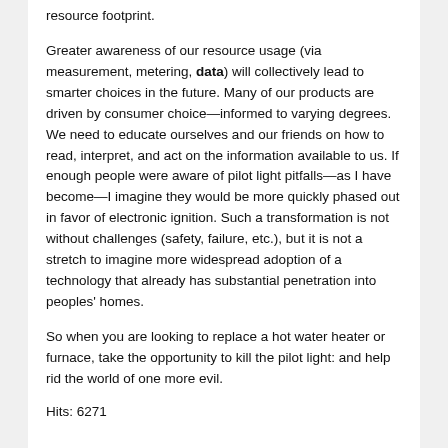resource footprint.
Greater awareness of our resource usage (via measurement, metering, data) will collectively lead to smarter choices in the future. Many of our products are driven by consumer choice—informed to varying degrees. We need to educate ourselves and our friends on how to read, interpret, and act on the information available to us. If enough people were aware of pilot light pitfalls—as I have become—I imagine they would be more quickly phased out in favor of electronic ignition. Such a transformation is not without challenges (safety, failure, etc.), but it is not a stretch to imagine more widespread adoption of a technology that already has substantial penetration into peoples' homes.
So when you are looking to replace a hot water heater or furnace, take the opportunity to kill the pilot light: and help rid the world of one more evil.
Hits: 6271